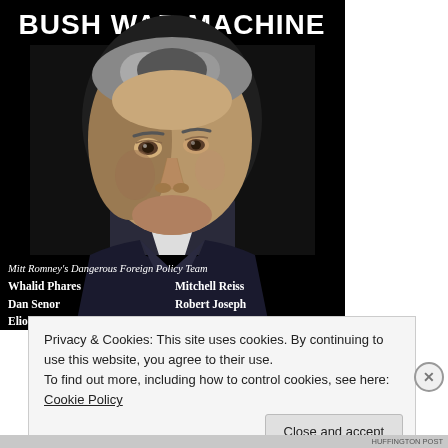[Figure (illustration): Book cover with black background showing title 'BUSH WAR MACHINE' in bold white text at top, a photograph of Mitt Romney (man in suit with grey hair), subtitle 'Mitt Romney's Dangerous Foreign Policy Team', and names: Whalid Phares, Dan Senor, Eliot Cohen, Mitchell Reiss, Robert Joseph, Kim Holmes]
Privacy & Cookies: This site uses cookies. By continuing to use this website, you agree to their use.
To find out more, including how to control cookies, see here: Cookie Policy